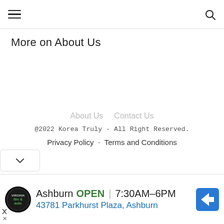≡ [hamburger menu] [search icon]
More on About Us
About Us  Contact Us
@2022 Korea Truly - All Right Reserved.
Privacy Policy - Terms and Conditions
[Figure (screenshot): Advertisement banner: Tire & Auto logo, Ashburn OPEN 7:30AM–6PM, 43781 Parkhurst Plaza, Ashburn, navigation arrow icon]